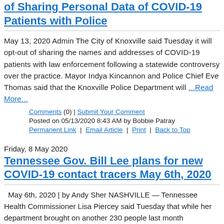of Sharing Personal Data of COVID-19 Patients with Police
May 13, 2020 Admin The City of Knoxville said Tuesday it will opt-out of sharing the names and addresses of COVID-19 patients with law enforcement following a statewide controversy over the practice. Mayor Indya Kincannon and Police Chief Eve Thomas said that the Knoxville Police Department will …Read More…
Comments (0) | Submit Your Comment
Posted on 05/13/2020 8:43 AM by Bobbie Patray
Permanent Link | Email Article | Print | Back to Top
Friday, 8 May 2020
Tennessee Gov. Bill Lee plans for new COVID-19 contact tracers May 6th, 2020
May 6th, 2020 | by Andy Sher NASHVILLE — Tennessee Health Commissioner Lisa Piercey said Tuesday that while her department brought on another 230 people last month